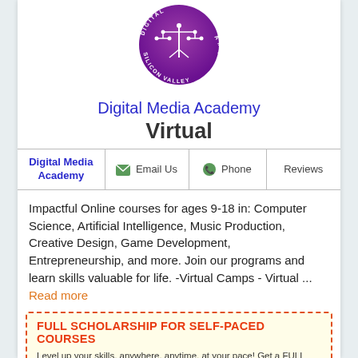[Figure (logo): Digital Silicon Valley Academy circular logo with purple gradient background and circuit tree design]
Digital Media Academy
Virtual
| Digital Media Academy | Email Us | Phone | Reviews |
| --- | --- | --- | --- |
Impactful Online courses for ages 9-18 in: Computer Science, Artificial Intelligence, Music Production, Creative Design, Game Development, Entrepreneurship, and more. Join our programs and learn skills valuable for life. -Virtual Camps - Virtual ... Read more
FULL SCHOLARSHIP FOR SELF-PACED COURSES
Level up your skills, anywhere, anytime, at your pace! Get a FULL Scholarship. Learn the foundations of technology in Computer Science, Artificial Intelligence, Music Production, Creative...
View Digital Media Academy Coupon